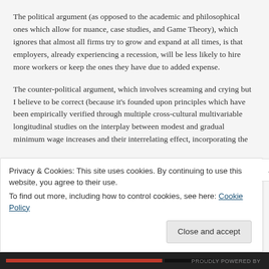The political argument (as opposed to the academic and philosophical ones which allow for nuance, case studies, and Game Theory), which ignores that almost all firms try to grow and expand at all times, is that employers, already experiencing a recession, will be less likely to hire more workers or keep the ones they have due to added expense.
The counter-political argument, which involves screaming and crying but I believe to be correct (because it's founded upon principles which have been empirically verified through multiple cross-cultural multivariable longitudinal studies on the interplay between modest and gradual minimum wage increases and their interrelating effect, incorporating the
Privacy & Cookies: This site uses cookies. By continuing to use this website, you agree to their use.
To find out more, including how to control cookies, see here: Cookie Policy
Close and accept